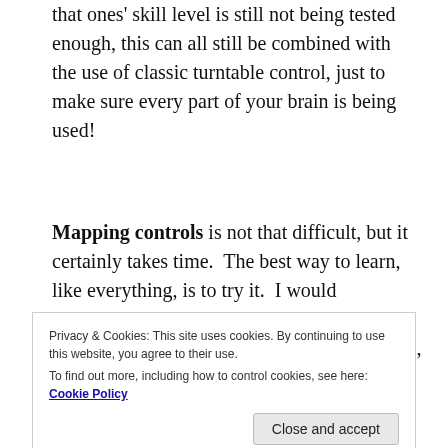that ones' skill level is still not being tested enough, this can all still be combined with the use of classic turntable control, just to make sure every part of your brain is being used!
Mapping controls is not that difficult, but it certainly takes time.  The best way to learn, like everything, is to try it.  I would recommend saving your current settings before you start to play about with midi maps, so that you have a
Privacy & Cookies: This site uses cookies. By continuing to use this website, you agree to their use.
To find out more, including how to control cookies, see here: Cookie Policy
Mapping in Traktor